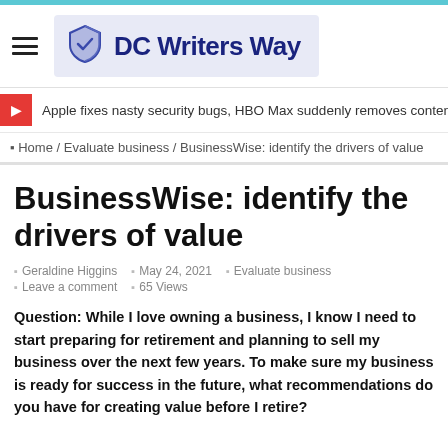[Figure (logo): DC Writers Way logo with shield icon and text on light blue background]
Apple fixes nasty security bugs, HBO Max suddenly removes content, and a16
Home / Evaluate business / BusinessWise: identify the drivers of value
BusinessWise: identify the drivers of value
Geraldine Higgins  May 24, 2021  Evaluate business  Leave a comment  65 Views
Question: While I love owning a business, I know I need to start preparing for retirement and planning to sell my business over the next few years. To make sure my business is ready for success in the future, what recommendations do you have for creating value before I retire?